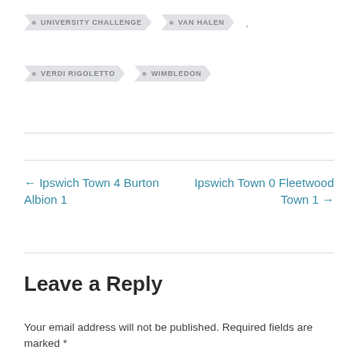UNIVERSITY CHALLENGE
VAN HALEN
VERDI RIGOLETTO
WIMBLEDON
← Ipswich Town 4 Burton Albion 1
Ipswich Town 0 Fleetwood Town 1 →
Leave a Reply
Your email address will not be published. Required fields are marked *